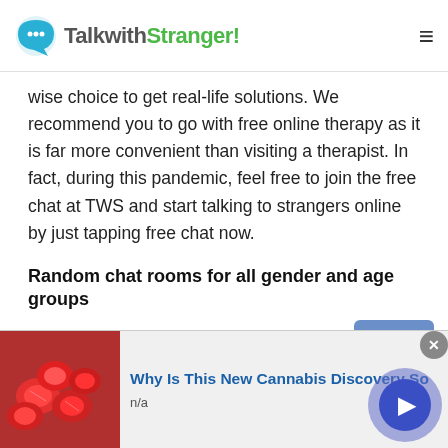TalkwithStranger!
wise choice to get real-life solutions. We recommend you to go with free online therapy as it is far more convenient than visiting a therapist. In fact, during this pandemic, feel free to join the free chat at TWS and start talking to strangers online by just tapping free chat now.
Random chat rooms for all gender and age groups
Remember, once you choose to talk to strangers in Malaysia via the Talkwithstranger app, you will not be bound to age and gender restrictions. Surprised
[Figure (other): Scroll to top button overlay (light blue rounded rectangle with upward chevron arrow)]
[Figure (other): Advertisement banner showing red candy/gummy bears image on left, with title 'Why Is This New Cannabis Discovery So' and subtitle 'n/a', with a play button circle on right and close button top-right]